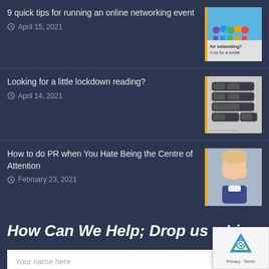9 quick tips for running an online networking event — April 15, 2021
Looking for a little lockdown reading? — April 14, 2021
How to do PR when You Hate Being the Centre of Attention — February 23, 2021
How Can We Help; Drop us a Line
Your name here